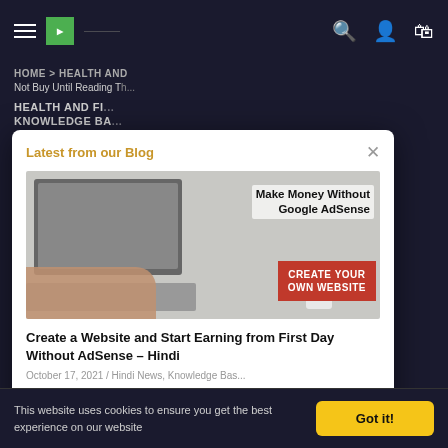Navigation bar with hamburger menu, logo, search, user, and cart icons
HOME > HEALTH AND
Not Buy Until Reading T
HEALTH AND FI... KNOWLEDGE BA...
Tea Burn Rev... Reading This
Tea Burn is a po... helps impr... a patent-pendin... The formula is b...
15 min
[Figure (screenshot): Blog popup overlay showing 'Latest from our Blog' with a laptop image and article about creating a website]
Create a Website and Start Earning from First Day Without AdSense – Hindi
October 17, 2021 / Hindi News, Knowledge Bas...
Hello Everyone, Hum sabhi paisa kmana chahte hai or hum sab koshish bhi kr rhe hai or Hum 9-5 ki jobs ke alawa hmare pass koi opti...
Read More
This website uses cookies to ensure you get the best experience on our website   Got it!